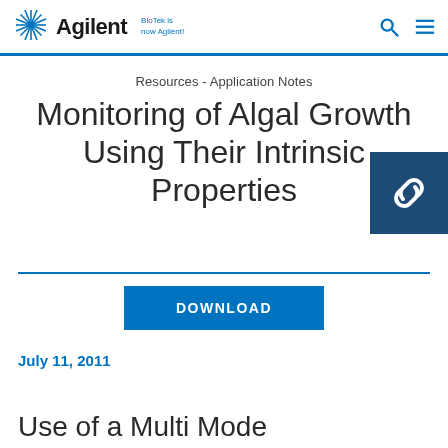Agilent — BioTek is now Agilent!
Resources - Application Notes
Monitoring of Algal Growth Using Their Intrinsic Properties
DOWNLOAD
July 11, 2011
Use of a Multi Mode Monochromator